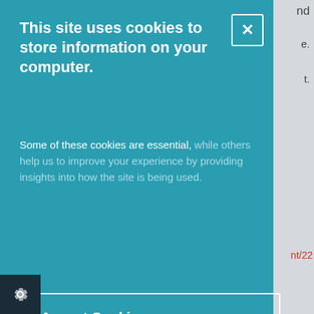[Figure (screenshot): Cookie consent modal overlay on a teal background, with close button, accept/decline buttons, and necessary cookies section. Partial background webpage visible on right edge.]
This site uses cookies to store information on your computer.
Some of these cookies are essential, while others help us to improve your experience by providing insights into how the site is being used.
I Accept Cookies
I Do Not Accept Cookies
Necessary Cookies
Necessary cookies enable core functionality such as site navigation and access to secure areas. The